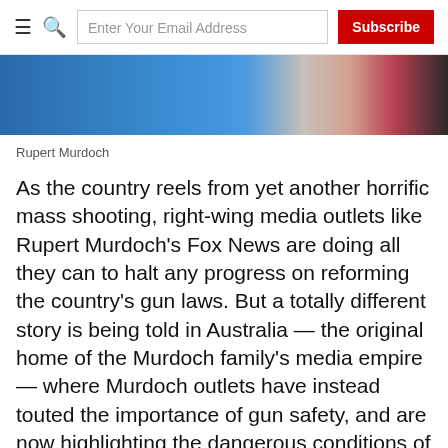≡  🔍  Enter Your Email Address  Subscribe
[Figure (photo): Partial photo of a person in a dark pinstripe suit with a red tie against a blue background — likely Rupert Murdoch]
Rupert Murdoch
As the country reels from yet another horrific mass shooting, right-wing media outlets like Rupert Murdoch's Fox News are doing all they can to halt any progress on reforming the country's gun laws. But a totally different story is being told in Australia — the original home of the Murdoch family's media empire — where Murdoch outlets have instead touted the importance of gun safety, and are now highlighting the dangerous conditions of gun proliferation in the United States.